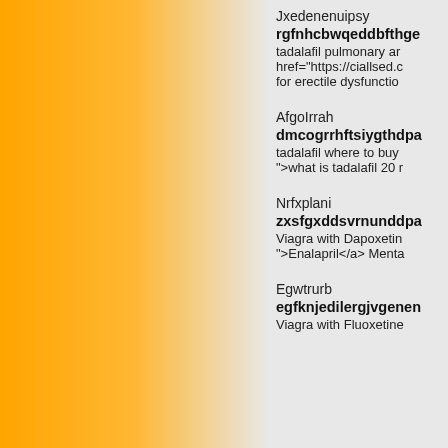[Figure (other): Orange gradient panel on the left side of the page]
Jxedenenuipsy
rgfnhcbwqeddbfthge
tadalafil pulmonary ar href="https://ciallsed.c for erectile dysfunctio
AfgoIrrah
dmcogrrhftsiygthdpa
tadalafil where to buy ">what is tadalafil 20 r
Nrfxplani
zxsfgxddsvrnunddpa
Viagra with Dapoxetin ">Enalapril</a> Menta
Egwtrurb
egfknjedilergjvgenen
Viagra with Fluoxetine